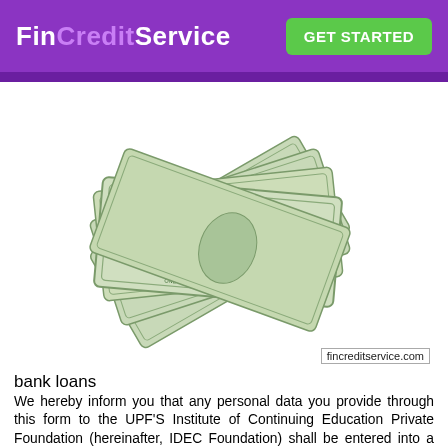FinCreditService  GET STARTED
[Figure (photo): Fan of US $100 dollar bills spread out on white background with fincreditservice.com watermark]
fincreditservice.com
bank loans
We hereby inform you that any personal data you provide through this form to the UPF'S Institute of Continuing Education Private Foundation (hereinafter, IDEC Foundation) shall be entered into a computerized data file and used by the IDEC Foundation, directly or via collaborating entities, to send you information about IDEC Foundation services that may be of interest to you. Unlimited cash back, rewards, balance transfer savings